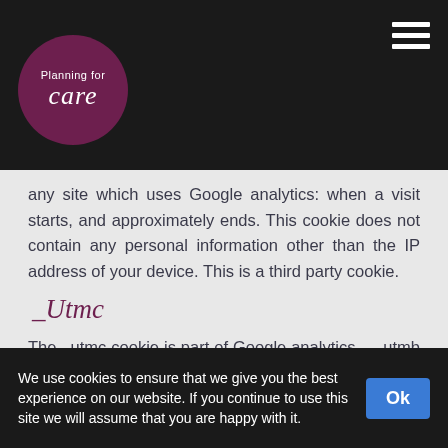Planning for care
any site which uses Google analytics: when a visit starts, and approximately ends. This cookie does not contain any personal information other than the IP address of your device. This is a third party cookie.
_Utmc
The _utmc cookie is part of Google analytics. __utmb and __utmc are used to check approximately how long you stay on any site which uses Google analytics: when a visit starts, and approximately ends. This cookie does not contain any personal information other than the IP address of your device. This is a third party cookie.
We use cookies to ensure that we give you the best experience on our website. If you continue to use this site we will assume that you are happy with it.